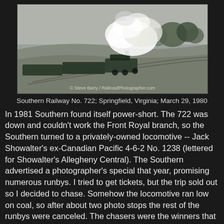[Figure (photo): A steam locomotive pulling passenger cars through a rural landscape, with heavy white smoke billowing from the stack. The train is on a curve, viewed from an elevated angle. Bare trees and grassy embankments visible. Photo credit: © Steve Barry / RailroadPhotographer.com]
Southern Railway No. 722; Springfield, Virginia; March 29, 1980
In 1981 Southern found itself power-short. The 722 was down and couldn't work the Front Royal branch, so the Southern turned to a privately-owned locomotive -- Jack Showalter's ex-Canadian Pacific 4-6-2 No. 1238 (lettered for Showalter's Allegheny Central). The Southern advertised a photographer's special that year, promising numerous runbys. I tried to get tickets, but the trip sold out so I decided to chase. Somehow the locomotive ran low on coal, so after about two photo stops the rest of the runbys were canceled. The chasers were the winners that day!